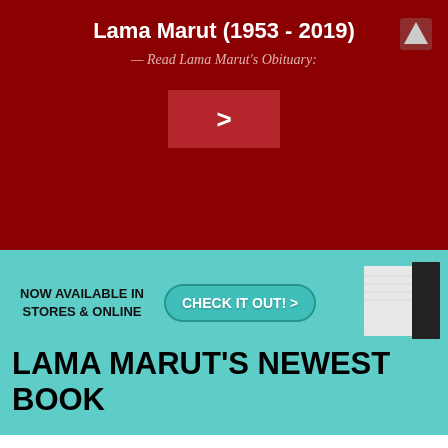Lama Marut (1953 - 2019)
— Read Lama Marut's Obituary:
[Figure (screenshot): Dark red button with right-arrow/greater-than symbol >]
[Figure (infographic): Teal banner advertising Lama Marut's newest book with text NOW AVAILABLE IN STORES & ONLINE, CHECK IT OUT! button, book image, and LAMA MARUT'S NEWEST BOOK headline]
Lama Marut's New book "Be Nobody" is now available for Pre-Order
Posted on March 4, 2014 by LamaMarut
Check out the all the new info about the new Be Nobody book here > Read More